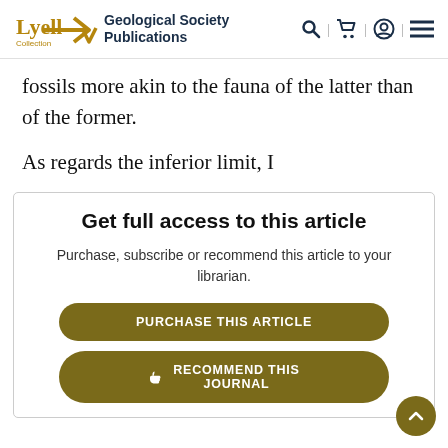Lyell Collection | Geological Society Publications
fossils more akin to the fauna of the latter than of the former.
As regards the inferior limit, I
Get full access to this article
Purchase, subscribe or recommend this article to your librarian.
PURCHASE THIS ARTICLE
RECOMMEND THIS JOURNAL